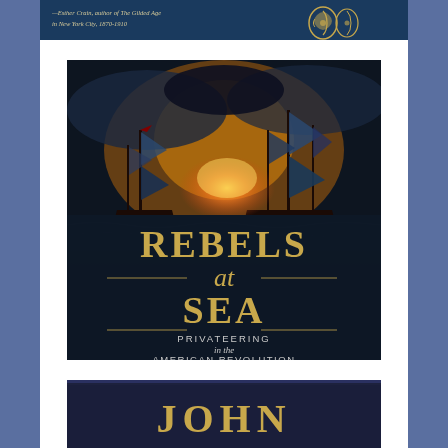[Figure (photo): Partial book cover at top, partially cropped – text: '—Esther Crain, author of The Gilded Age in New York City, 1870-1910' with decorative gold flourish motifs on right]
[Figure (photo): Book cover for 'Rebels at Sea: Privateering in the American Revolution' by Eric Jay Dolin. Cover shows dramatic naval battle scene with tall ships under dark stormy skies. Large gold serif title text 'REBELS at SEA' with subtitle 'PRIVATEERING in the AMERICAN REVOLUTION' and author 'ERIC JAY DOLIN' and tagline 'best selling author of BLACK FLAGS BLUE WATERS'.]
[Figure (photo): Partial book cover at bottom, partially cropped – shows title text 'JOHN' in gold letters on dark navy background, top portion only visible.]